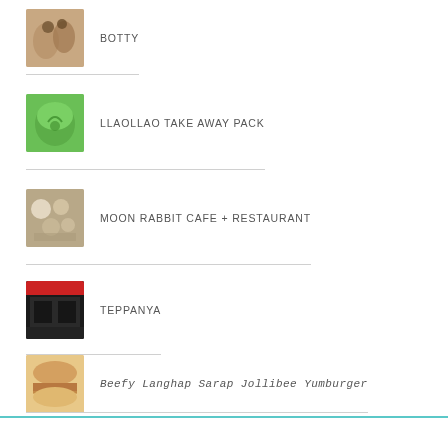BOTTY
LLAOLLAO TAKE AWAY PACK
MOON RABBIT CAFE + RESTAURANT
TEPPANYA
Beefy Langhap Sarap Jollibee Yumburger